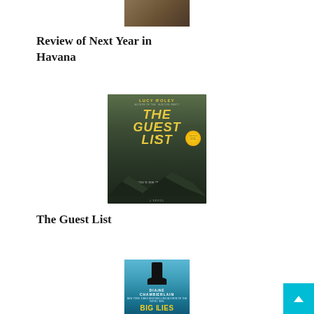[Figure (photo): Top portion of a book cover, partially visible at top of page]
Review of Next Year in Havana
[Figure (photo): Book cover of 'The Guest List' by Lucy Foley, dark moody cover with yellow text and Reese's Book Club badge]
The Guest List
[Figure (photo): Book cover of 'Big Lies' by Diane Chamberlain, teal/blue cover with silhouette figure]